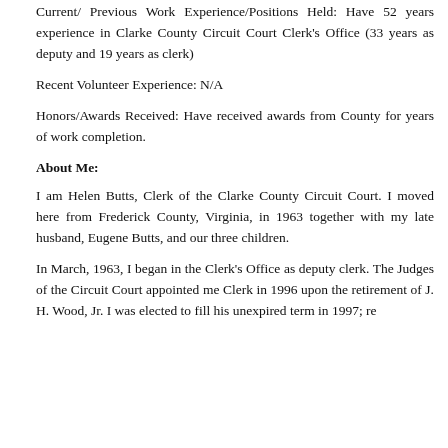Current/ Previous Work Experience/Positions Held: Have 52 years experience in Clarke County Circuit Court Clerk's Office (33 years as deputy and 19 years as clerk)
Recent Volunteer Experience: N/A
Honors/Awards Received: Have received awards from County for years of work completion.
About Me:
I am Helen Butts, Clerk of the Clarke County Circuit Court. I moved here from Frederick County, Virginia, in 1963 together with my late husband, Eugene Butts, and our three children.
In March, 1963, I began in the Clerk's Office as deputy clerk. The Judges of the Circuit Court appointed me Clerk in 1996 upon the retirement of J. H. Wood, Jr. I was elected to fill his unexpired term in 1997; re